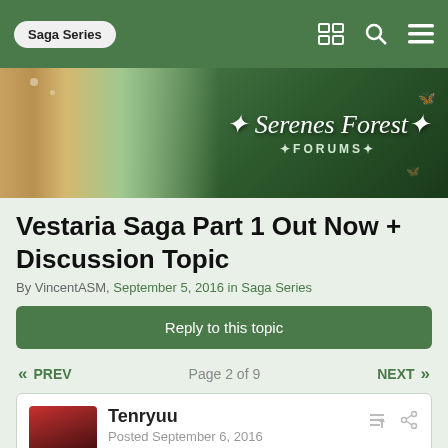Saga Series
[Figure (illustration): Serenes Forest Forums banner with anime-style blonde female character and forest background with decorative text 'Serenes Forest FORUMS']
Vestaria Saga Part 1 Out Now + Discussion Topic
By VincentASM, September 5, 2016 in Saga Series
Reply to this topic
« PREV    Page 2 of 9    NEXT »
Tenryuu
Posted September 6, 2016
On 9/6/2016 at 12:31 AM, BrightBow said: